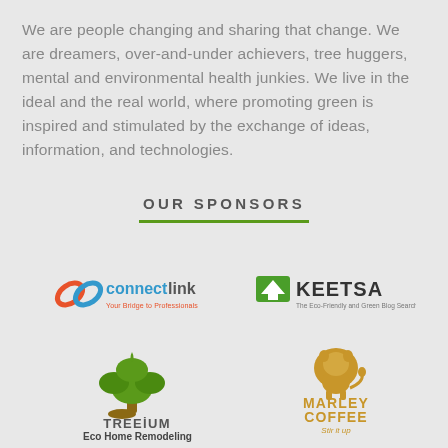We are people changing and sharing that change. We are dreamers, over-and-under achievers, tree huggers, mental and environmental health junkies. We live in the ideal and the real world, where promoting green is inspired and stimulated by the exchange of ideas, information, and technologies.
OUR SPONSORS
[Figure (logo): ConnectLink logo - Your Bridge to Professionals]
[Figure (logo): KEETSA logo - The Eco-Friendly and Green Blog Search Engine]
[Figure (logo): TREEIUM Eco Home Remodeling logo with green leaf tree graphic]
[Figure (logo): Marley Coffee Stir it Up logo with lion graphic in gold]